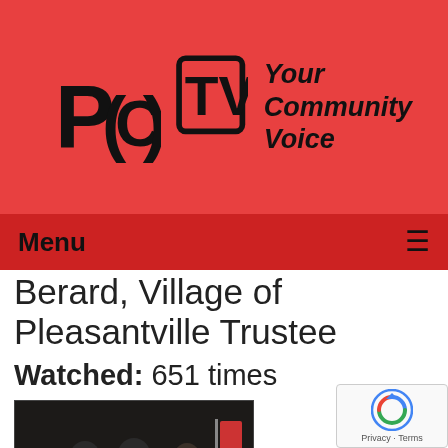[Figure (logo): PCTV logo with text 'Your Community Voice' on a red background]
Menu ≡
Berard, Village of Pleasantville Trustee
Watched: 651 times
[Figure (photo): Thumbnail image showing people seated at a council/meeting table]
The Board of Education Meeting of 10.09.11